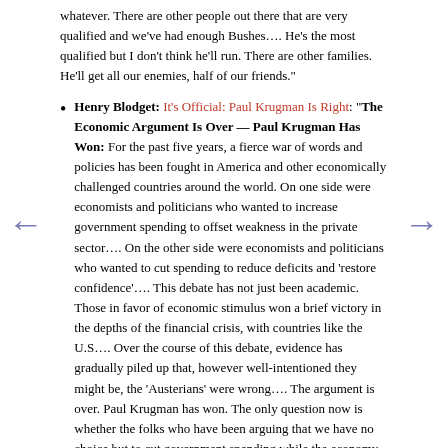whatever. There are other people out there that are very qualified and we've had enough Bushes…. He's the most qualified but I don't think he'll run. There are other families. He'll get all our enemies, half of our friends."
Henry Blodget: It's Official: Paul Krugman Is Right: "The Economic Argument Is Over — Paul Krugman Has Won: For the past five years, a fierce war of words and policies has been fought in America and other economically challenged countries around the world. On one side were economists and politicians who wanted to increase government spending to offset weakness in the private sector…. On the other side were economists and politicians who wanted to cut spending to reduce deficits and 'restore confidence'…. This debate has not just been academic. Those in favor of economic stimulus won a brief victory in the depths of the financial crisis, with countries like the U.S…. Over the course of this debate, evidence has gradually piled up that, however well-intentioned they might be, the 'Austerians' were wrong…. The argument is over. Paul Krugman has won. The only question now is whether the folks who have been arguing that we have no choice but to cut government spending while the economy is still weak will be big enough to admit that."
Greg Sargent: On guns, Dems hold the sensible middle ground: